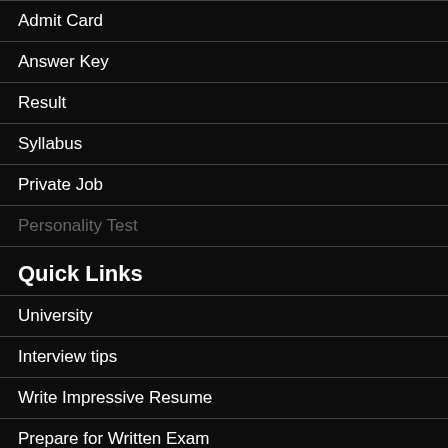Admit Card
Answer Key
Result
Syllabus
Private Job
Personality Test
Quick Links
University
Interview tips
Write Impressive Resume
Prepare for Written Exam